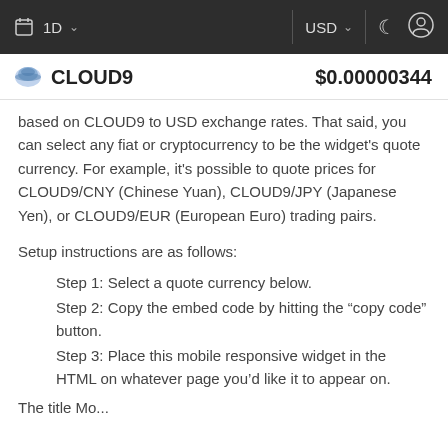1D  USD
CLOUD9  $0.00000344
based on CLOUD9 to USD exchange rates. That said, you can select any fiat or cryptocurrency to be the widget's quote currency. For example, it's possible to quote prices for CLOUD9/CNY (Chinese Yuan), CLOUD9/JPY (Japanese Yen), or CLOUD9/EUR (European Euro) trading pairs.
Setup instructions are as follows:
Step 1: Select a quote currency below.
Step 2: Copy the embed code by hitting the "copy code" button.
Step 3: Place this mobile responsive widget in the HTML on whatever page you'd like it to appear on.
The title Mo...